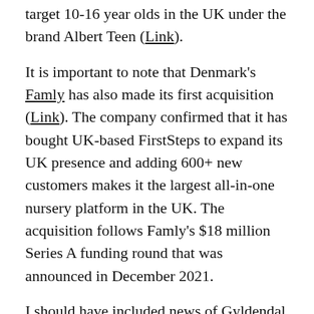target 10-16 year olds in the UK under the brand Albert Teen (Link).
It is important to note that Denmark's Famly has also made its first acquisition (Link). The company confirmed that it has bought UK-based FirstSteps to expand its UK presence and adding 600+ new customers makes it the largest all-in-one nursery platform in the UK. The acquisition follows Famly's $18 million Series A funding round that was announced in December 2021.
I should have included news of Gyldendal Denmark's improved 2021 results in my round-up of full year figures in the last NEN. Accounts for 2021 show turnover of DKK 935 million (+4% yoy) and operating profit (EBIT) of DKK 42 million (was DKK 9 million in